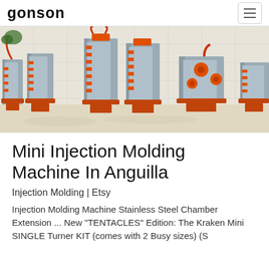GONSON
[Figure (photo): Photo of multiple industrial injection molding machine molds displayed in a workshop/factory setting. Several large rectangular metallic molds with orange components are arranged in a row on orange stands against a white tiled wall.]
Mini Injection Molding Machine In Anguilla
Injection Molding | Etsy
Injection Molding Machine Stainless Steel Chamber Extension ... New "TENTACLES" Edition: The Kraken Mini SINGLE Turner KIT (comes with 2 Busy sizes) (S